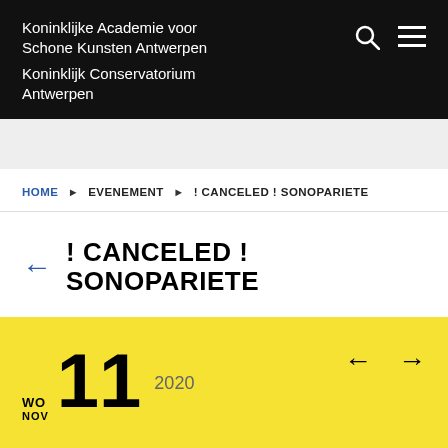Koninklijke Academie voor Schone Kunsten Antwerpen
Koninklijk Conservatorium Antwerpen
HOME ▶ EVENEMENT ▶ ! CANCELED ! SONOPARIETE
← ! CANCELED ! SONOPARIETE
WO NOV 11 2020